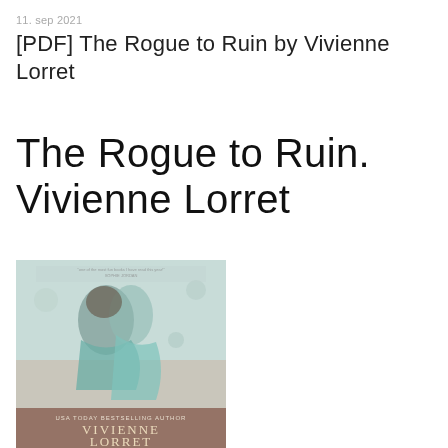11. sep 2021
[PDF] The Rogue to Ruin by Vivienne Lorret
The Rogue to Ruin. Vivienne Lorret
[Figure (photo): Book cover of 'The Rogue to Ruin' by Vivienne Lorret, showing a romantic scene with two figures embracing, teal/mint color tones, with text 'USA TODAY BESTSELLING AUTHOR VIVIENNE LORRET' at the bottom.]